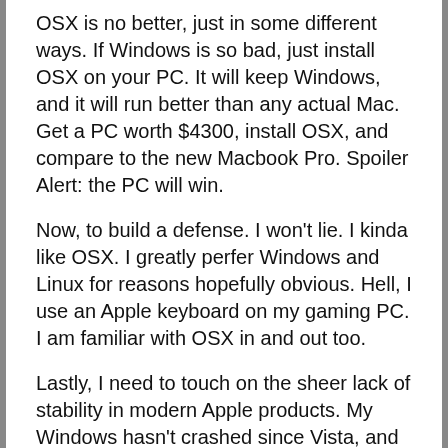OSX is no better, just in some different ways. If Windows is so bad, just install OSX on your PC. It will keep Windows, and it will run better than any actual Mac. Get a PC worth $4300, install OSX, and compare to the new Macbook Pro. Spoiler Alert: the PC will win.
Now, to build a defense. I won't lie. I kinda like OSX. I greatly perfer Windows and Linux for reasons hopefully obvious. Hell, I use an Apple keyboard on my gaming PC. I am familiar with OSX in and out too.
Lastly, I need to touch on the sheer lack of stability in modern Apple products. My Windows hasn't crashed since Vista, and that was Vista. My Chrome OS crashes here and there, but for a $250 computer using Linux, that's not bad, it saves my pages anyway. But an iMac crashing twice a week is not a rare occurrence.
This is why until they reduce their prices to a propper level, I'm not getting a new Mac anytime soon...